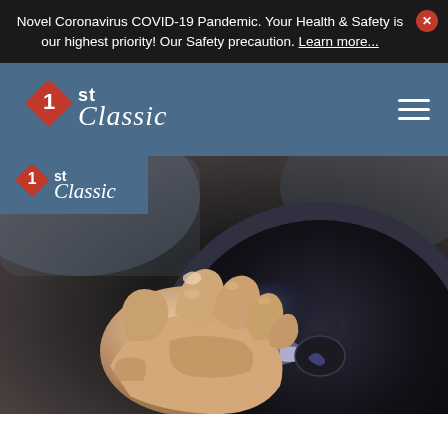Novel Coronavirus COVID-19 Pandemic. Your Health & Safety is our highest priority! Our Safety precaution. Learn more...
[Figure (screenshot): Website screenshot showing a notification bar about COVID-19, a navigation bar with '1st Classic' logo and hamburger menu on a steel blue background, and a hero image of a hand gripping a car steering wheel]